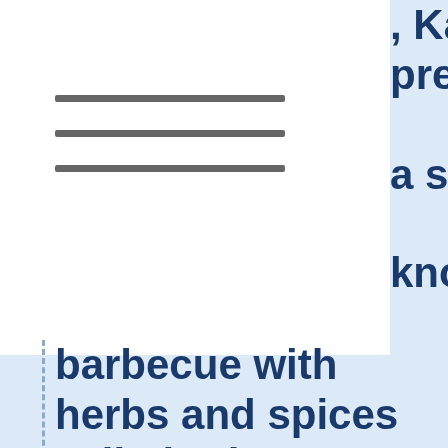, Kansas City, prefers cooking a sweet sauce. known for its beef barbecue with herbs and spices called rubs.
North Carolina favors pork and thin sauces made with tangy vinegar.  South Carolina likes a thick sauce made from